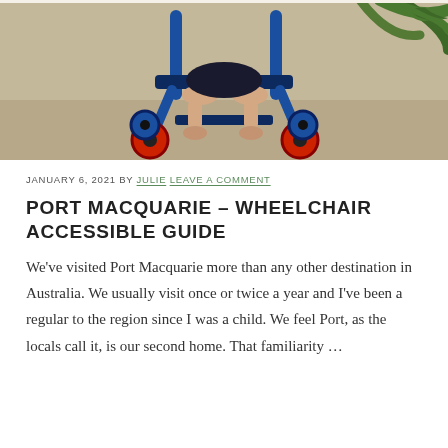[Figure (photo): Beach wheelchair with blue frame and red wheels on a sandy surface, with tropical palm fronds visible in the top right corner. Person's legs and feet visible seated in the chair.]
JANUARY 6, 2021 BY JULIE LEAVE A COMMENT
PORT MACQUARIE – WHEELCHAIR ACCESSIBLE GUIDE
We've visited Port Macquarie more than any other destination in Australia. We usually visit once or twice a year and I've been a regular to the region since I was a child. We feel Port, as the locals call it, is our second home. That familiarity …